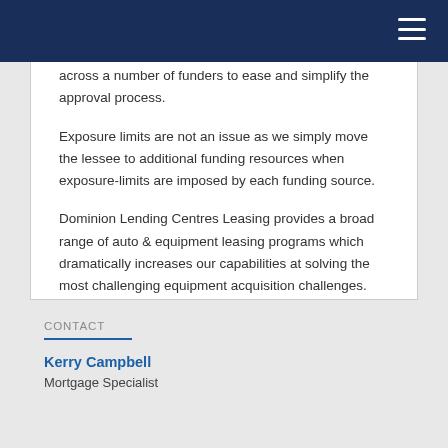across a number of funders to ease and simplify the approval process.
Exposure limits are not an issue as we simply move the lessee to additional funding resources when exposure-limits are imposed by each funding source.
Dominion Lending Centres Leasing provides a broad range of auto & equipment leasing programs which dramatically increases our capabilities at solving the most challenging equipment acquisition challenges.
CONTACT
Kerry Campbell
Mortgage Specialist